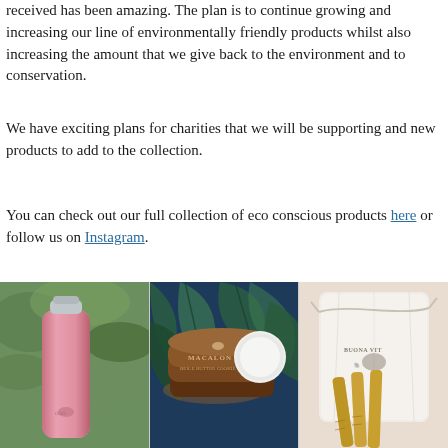received has been amazing. The plan is to continue growing and increasing our line of environmentally friendly products whilst also increasing the amount that we give back to the environment and to conservation.
We have exciting plans for charities that we will be supporting and new products to add to the collection.
You can check out our full collection of eco conscious products here or follow us on Instagram.
[Figure (photo): Three product photos side by side: a pink stainless steel water bottle against green foliage, a Macaron branded tin/compact against tropical leaf background, and bamboo straws in a white drawstring Buona Vita bag.]